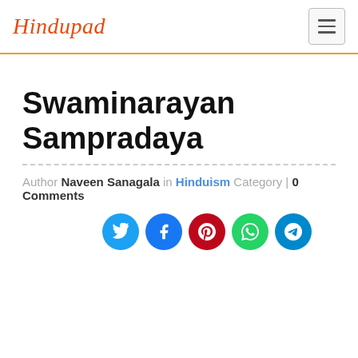Hindupad
Swaminarayan Sampradaya
Author Naveen Sanagala in Hinduism Category | 0 Comments
[Figure (infographic): Social sharing buttons row: Twitter (blue), Facebook (dark blue), Pinterest (red), WhatsApp (green), Telegram (blue)]